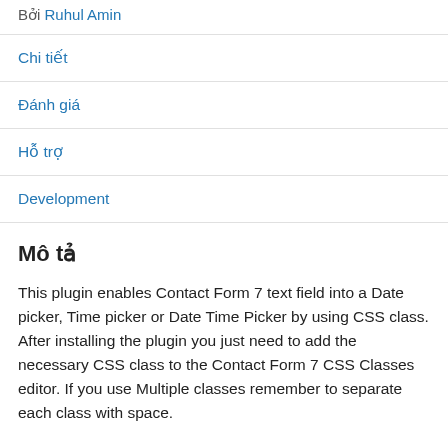Bởi Ruhul Amin
Chi tiết
Đánh giá
Hỗ trợ
Development
Mô tả
This plugin enables Contact Form 7 text field into a Date picker, Time picker or Date Time Picker by using CSS class. After installing the plugin you just need to add the necessary CSS class to the Contact Form 7 CSS Classes editor. If you use Multiple classes remember to separate each class with space.